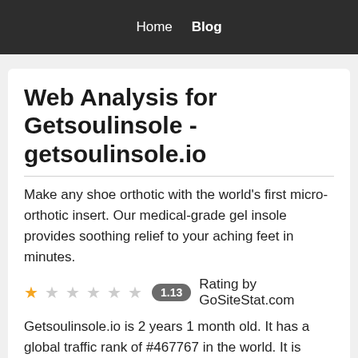Home  Blog
Web Analysis for Getsoulinsole - getsoulinsole.io
Make any shoe orthotic with the world's first micro-orthotic insert. Our medical-grade gel insole provides soothing relief to your aching feet in minutes.
★ ☆ ☆ ☆ ☆ ☆  1.13  Rating by GoSiteStat.com
Getsoulinsole.io is 2 years 1 month old. It has a global traffic rank of #467767 in the world. It is